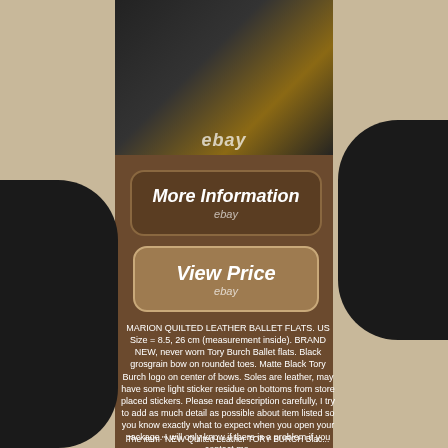[Figure (photo): Product photo of Tory Burch ballet flat shoe showing black quilted leather and tan interior sole with logo, with ebay watermark]
More Information
ebay
View Price
ebay
MARION QUILTED LEATHER BALLET FLATS. US Size = 8.5, 26 cm (measurement inside). BRAND NEW, never worn Tory Burch Ballet flats. Black grosgrain bow on rounded toes. Matte Black Tory Burch logo on center of bows. Soles are leather, may have some light sticker residue on bottoms from store placed stickers. Please read description carefully, I try to add as much detail as possible about item listed so you know exactly what to expect when you open your package. I will only know if there is a problem if you contact me.
The item "NEW Quilted Leather TORY BURCH Blac...